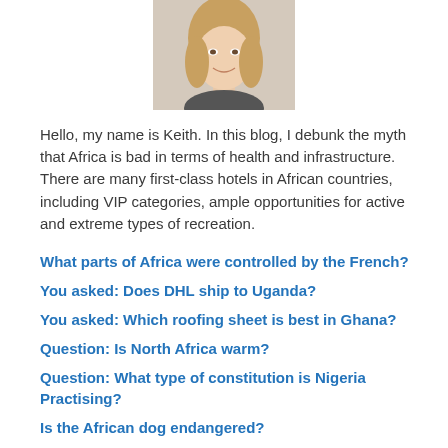[Figure (photo): Headshot photo of a smiling woman with blonde hair]
Hello, my name is Keith. In this blog, I debunk the myth that Africa is bad in terms of health and infrastructure. There are many first-class hotels in African countries, including VIP categories, ample opportunities for active and extreme types of recreation.
What parts of Africa were controlled by the French?
You asked: Does DHL ship to Uganda?
You asked: Which roofing sheet is best in Ghana?
Question: Is North Africa warm?
Question: What type of constitution is Nigeria Practising?
Is the African dog endangered?